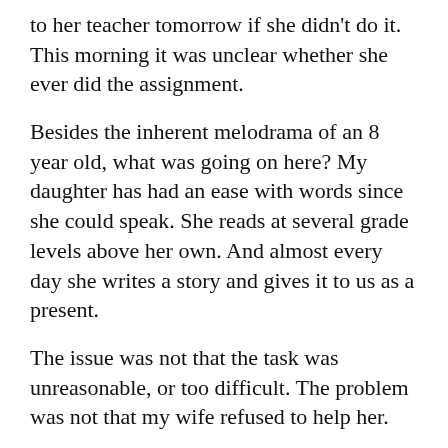to her teacher tomorrow if she didn't do it. This morning it was unclear whether she ever did the assignment.
Besides the inherent melodrama of an 8 year old, what was going on here? My daughter has had an ease with words since she could speak. She reads at several grade levels above her own. And almost every day she writes a story and gives it to us as a present.
The issue was not that the task was unreasonable, or too difficult. The problem was not that my wife refused to help her.
I believe her problem was The Resistance (or as Seth Godin refers to it, the lizard brain).
The Resistance is that part of our brain that aggressively fights against you every time you want to create something or do a piece of work that really matters. The Resistance hates art because art comes with risk. Art